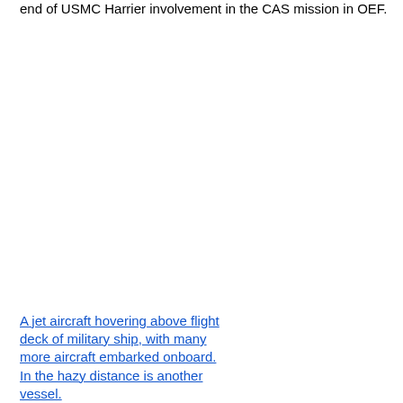end of USMC Harrier involvement in the CAS mission in OEF.
[Figure (photo): A jet aircraft hovering above flight deck of military ship, with many more aircraft embarked onboard. In the hazy distance is another vessel.]
A jet aircraft hovering above flight deck of military ship, with many more aircraft embarked onboard. In the hazy distance is another vessel.